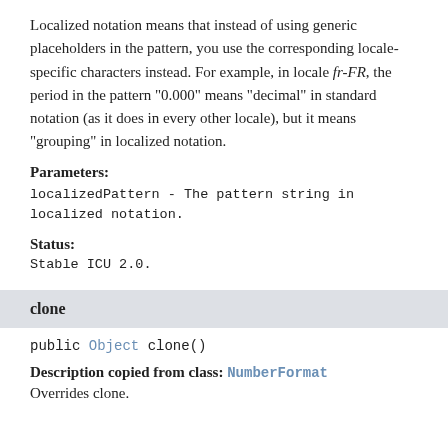Localized notation means that instead of using generic placeholders in the pattern, you use the corresponding locale-specific characters instead. For example, in locale fr-FR, the period in the pattern "0.000" means "decimal" in standard notation (as it does in every other locale), but it means "grouping" in localized notation.
Parameters:
localizedPattern - The pattern string in localized notation.
Status:
Stable ICU 2.0.
clone
public Object clone()
Description copied from class: NumberFormat
Overrides clone.